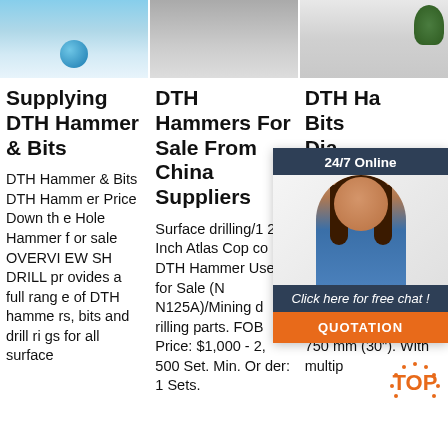[Figure (photo): Three product/lifestyle images in a row at the top: left shows a blue ball object, center shows grey background with object, right shows grey background with green plant]
Supplying DTH Hammer & Bits
DTH Hammer & Bits DTH Hammer Price Down the Hole Hammer for sale OVERVIEW SH DRILL provides a full range of DTH hammers, bits and drill rigs for all surface
DTH Hammers For Sale From China Suppliers
Surface drilling/12 Inch Atlas Copco DTH Hammer Used for Sale (N N125A)/Mining drilling parts. FOB Price: $1,000 - 2,500 Set. Min. Order: 1 Sets.
DTH Ha Bits Dia Dri Au
In o ons on d hammers can be used with single bit in hole sizes up to . 750 mm (30"). With multip
[Figure (screenshot): 24/7 Online chat widget with agent photo, 'Click here for free chat!' text, and QUOTATION button]
[Figure (logo): TOP badge in orange with dotted ring around it]